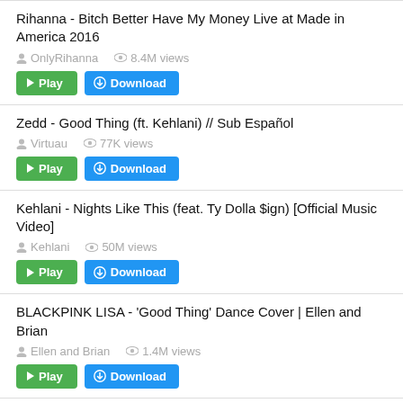Rihanna - Bitch Better Have My Money Live at Made in America 2016
OnlyRihanna  8.4M views
[Play] [Download]
Zedd - Good Thing (ft. Kehlani) // Sub Español
Virtuau  77K views
[Play] [Download]
Kehlani - Nights Like This (feat. Ty Dolla $ign) [Official Music Video]
Kehlani  50M views
[Play] [Download]
BLACKPINK LISA - 'Good Thing' Dance Cover | Ellen and Brian
Ellen and Brian  1.4M views
[Play] [Download]
Ariana Grande, Miley Cyrus, Lana Del Rey - Don't Call Me Angel (Charlie's Angels)